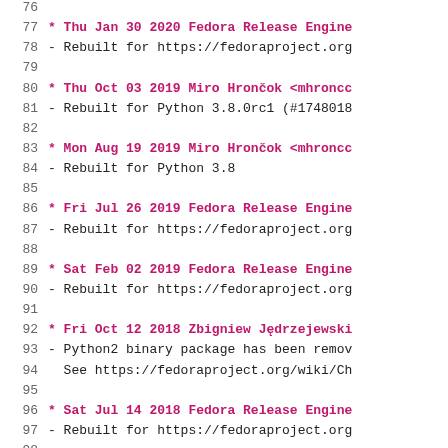Code/changelog viewer showing lines 76-100 of a Fedora RPM spec changelog
77 * Thu Jan 30 2020 Fedora Release Engine
78 - Rebuilt for https://fedoraproject.org
80 * Thu Oct 03 2019 Miro Hrončok <mhroncc
81 - Rebuilt for Python 3.8.0rc1 (#1748018
83 * Mon Aug 19 2019 Miro Hrončok <mhroncc
84 - Rebuilt for Python 3.8
86 * Fri Jul 26 2019 Fedora Release Engine
87 - Rebuilt for https://fedoraproject.org
89 * Sat Feb 02 2019 Fedora Release Engine
90 - Rebuilt for https://fedoraproject.org
92 * Fri Oct 12 2018 Zbigniew Jędrzejewski
93 - Python2 binary package has been remov
94   See https://fedoraproject.org/wiki/Ch
96 * Sat Jul 14 2018 Fedora Release Engine
97 - Rebuilt for https://fedoraproject.org
99 * Tue Jun 19 2018 Miro Hrončok <mhroncc
100 - Rebuilt for Python 3.7